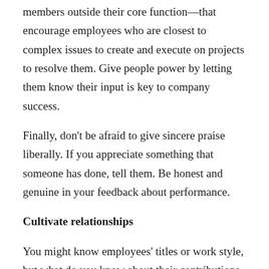members outside their core function—that encourage employees who are closest to complex issues to create and execute on projects to resolve them. Give people power by letting them know their input is key to company success.
Finally, don't be afraid to give sincere praise liberally. If you appreciate something that someone has done, tell them. Be honest and genuine in your feedback about performance.
Cultivate relationships
You might know employees' titles or work style, but what do you know about their contributions outside the company? They...